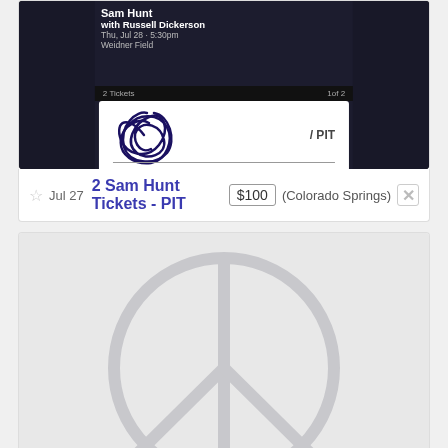[Figure (screenshot): Ticket listing screenshot showing Sam Hunt concert ticket with dark background, 2 Tickets, PIT section, handwritten scribble seating chart]
Jul 27  2 Sam Hunt Tickets - PIT  $100  (Colorado Springs)
[Figure (illustration): Craigslist-style listing image placeholder showing a peace sign / no image embossed on light gray background]
Aug 4  Broncos VS Cowboys  $100  (Colorado Springs)